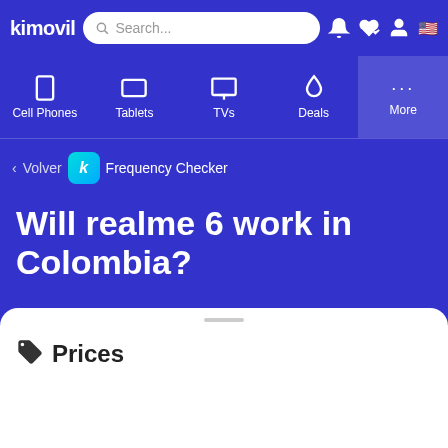kimovil — Search... (navigation bar with Cell Phones, Tablets, TVs, Deals, More)
< Volver  Frequency Checker
Will realme 6 work in Colombia?
Check the compatibility of frequencies, bands and network coverage of realme 6 with the operators of Colombia
Prices